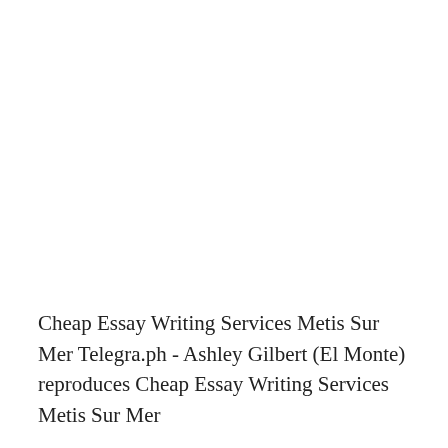Cheap Essay Writing Services Metis Sur Mer Telegra.ph - Ashley Gilbert (El Monte) reproduces Cheap Essay Writing Services Metis Sur Mer